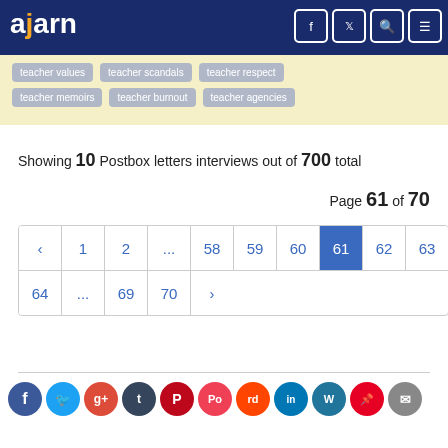ajarn
teacher values | teacher scandals | teacher respect | teacher memoirs | teacher burnout | teacher agencies
Showing 10 Postbox letters interviews out of 700 total
Page 61 of 70
‹ 1 2 ... 58 59 60 61 62 63 64 ... 69 70 ›
[Figure (other): Social media sharing icons: Facebook, Twitter, Google+, Tumblr, Pinterest, Pocket, Reddit, LinkedIn, WordPress, Pinterest, Email]